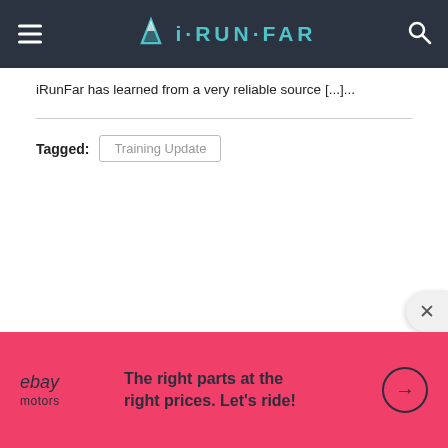iRunFar
iRunFar has learned from a very reliable source [...]...
Tagged: Training Update
[Figure (other): eBay Motors advertisement banner: 'The right parts at the right prices. Let's ride!']